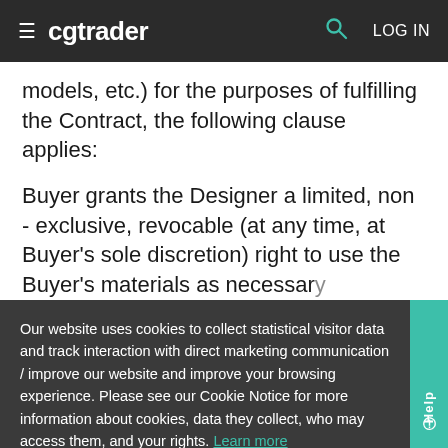cgtrader — LOG IN
models, etc.) for the purposes of fulfilling the Contract, the following clause applies:
Buyer grants the Designer a limited, non - exclusive, revocable (at any time, at Buyer's sole discretion) right to use the Buyer's materials as necessary
Our website uses cookies to collect statistical visitor data and track interaction with direct marketing communication / improve our website and improve your browsing experience. Please see our Cookie Notice for more information about cookies, data they collect, who may access them, and your rights. Learn more
Accept